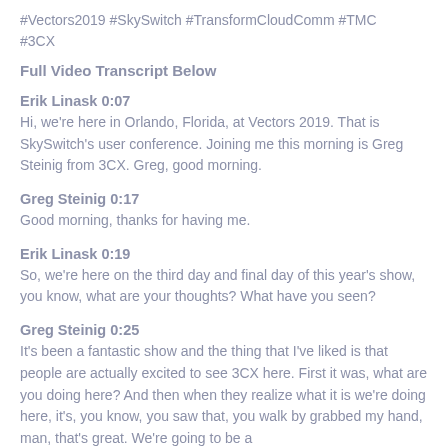#Vectors2019 #SkySwitch #TransformCloudComm #TMC #3CX
Full Video Transcript Below
Erik Linask 0:07
Hi, we're here in Orlando, Florida, at Vectors 2019. That is SkySwitch's user conference. Joining me this morning is Greg Steinig from 3CX. Greg, good morning.
Greg Steinig 0:17
Good morning, thanks for having me.
Erik Linask 0:19
So, we're here on the third day and final day of this year's show, you know, what are your thoughts? What have you seen?
Greg Steinig 0:25
It's been a fantastic show and the thing that I've liked is that people are actually excited to see 3CX here. First it was, what are you doing here? And then when they realize what it is we're doing here, it's, you know, you saw that, you walk by grabbed my hand, man, that's great. We're going to be a customer for sure and that's been really positive for...